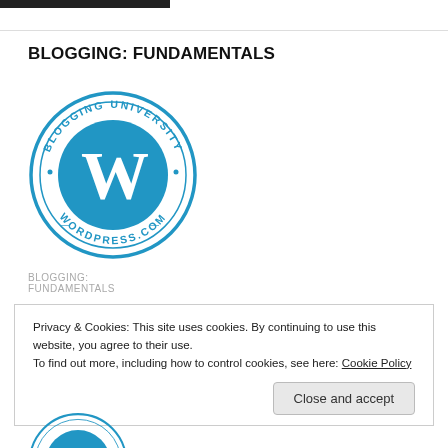BLOGGING: FUNDAMENTALS
[Figure (logo): Blogging University WordPress.com circular badge logo in blue]
BLOGGING:
FUNDAMENTALS
Privacy & Cookies: This site uses cookies. By continuing to use this website, you agree to their use.
To find out more, including how to control cookies, see here: Cookie Policy
Close and accept
[Figure (logo): Partial Blogging University WordPress.com logo at bottom of page]